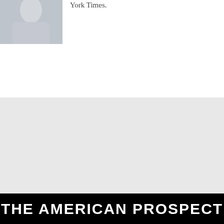[Figure (photo): Partial photo of a person, cropped, grayscale/muted tones]
York Times.
[Figure (infographic): Join DSA! Fight to democratize our economy & society — red banner ad with DSA rose logo on left, bold text on right]
THE AMERICAN PROSPECT